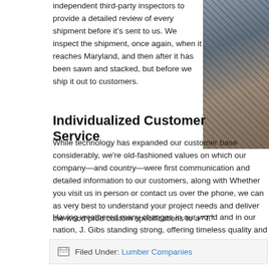independent third-party inspectors to provide a detailed review of every shipment before it's sent to us. We inspect the shipment, once again, when it reaches Maryland, and then after it has been sawn and stacked, but before we ship it out to customers.
[Figure (photo): Photo of lumber/wood and machinery in a workshop or lumber yard]
Individualized Customer Service
While technology has expanded our customer base considerably, we're old-fashioned values on which our company—and country—were first communication and detailed information to our customers, along with Whether you visit us in person or contact us over the phone, we can as very best to understand your project needs and deliver the wood prod custom specifications to a “T.”
Having weathered many changes in our world and in our nation, J. Gibs standing strong, offering timeless quality and old-fashioned customer s
Filed Under: Lumber Companies
Share Your Thoughts